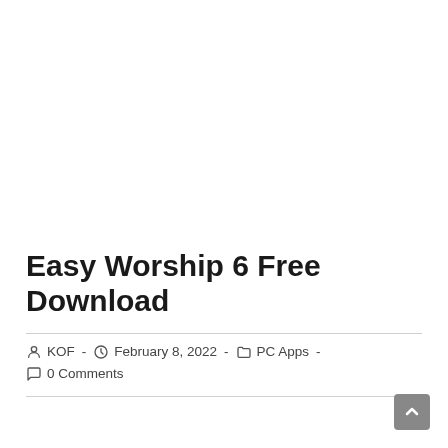Easy Worship 6 Free Download
KOF  -  February 8, 2022  -  PC Apps  -  0 Comments